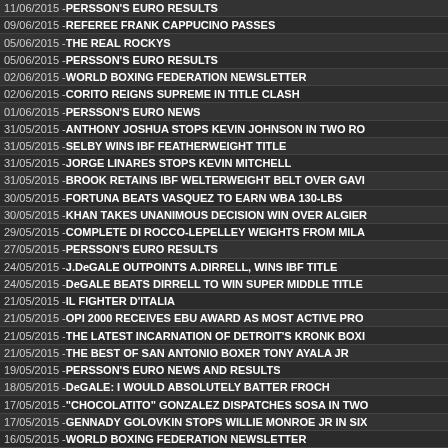11/06/2015 - PERSSON'S EURO RESULTS
09/06/2015 - REFEREE FRANK CAPPUCINO PASSES
05/06/2015 - THE REAL ROCKYS
05/06/2015 - PERSSON'S EURO RESULTS
02/06/2015 - WORLD BOXING FEDERATION NEWSLETTER
02/06/2015 - CORITO REIGNS SUPREME IN TITLE CLASH
01/06/2015 - PERSSON'S EURO NEWS
31/05/2015 - ANTHONY JOSHUA STOPS KEVIN JOHNSON IN TWO RO
31/05/2015 - SELBY WINS IBF FEATHERWEIGHT TITLE
31/05/2015 - JORGE LINARES STOPS KEVIN MITCHELL
31/05/2015 - BROOK RETAINS IBF WELTERWEIGHT BELT OVER GAVI
30/05/2015 - FORTUNA BEATS VASQUEZ TO EARN WBA 130-LBS
30/05/2015 - KHAN TAKES UNANIMOUS DECISION WIN OVER ALGIER
29/05/2015 - COMPLETE DI ROCCO-LEPELLEY WEIGHTS FROM MILA
27/05/2015 - PERSSON'S EURO RESULTS
24/05/2015 - J.DeGALE OUTPOINTS A.DIRRELL, WINS IBF TITLE
24/05/2015 - DeGALE BEATS DIRRELL TO WIN SUPER MIDDLE TITLE
21/05/2015 - IL FIGHTER D'ITALIA
21/05/2015 - OPI 2000 RECEIVES EBU AWARD AS MOST ACTIVE PRO
21/05/2015 - THE LATEST INCARNATION OF DETROIT'S KRONK BOXI
21/05/2015 - THE BEST OF SAN ANTONIO BOXER TONY AYALA JR
19/05/2015 - PERSSON'S EURO NEWS AND RESULTS
18/05/2015 - DeGALE: I WOULD ABSOLUTELY BATTER FROCH
17/05/2015 - "CHOCOLATITO" GONZALEZ DISPATCHES SOSA IN TWO
17/05/2015 - GENNADY GOLOVKIN STOPS WILLIE MONROE JR IN SIX
16/05/2015 - WORLD BOXING FEDERATION NEWSLETTER